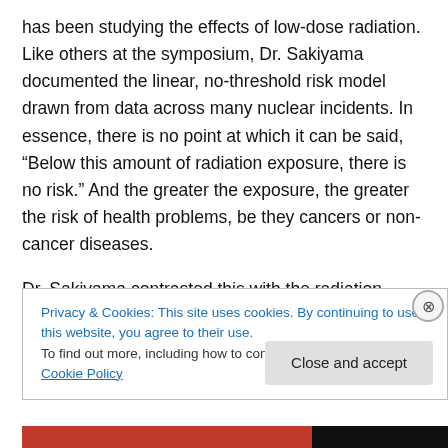has been studying the effects of low-dose radiation. Like others at the symposium, Dr. Sakiyama documented the linear, no-threshold risk model drawn from data across many nuclear incidents. In essence, there is no point at which it can be said, “Below this amount of radiation exposure, there is no risk.” And the greater the exposure, the greater the risk of health problems, be they cancers or non-cancer diseases.
Dr. Sakiyama contrasted this with the radiation exposure limits set by governments. Japan famously increased what
Privacy & Cookies: This site uses cookies. By continuing to use this website, you agree to their use.
To find out more, including how to control cookies, see here: Cookie Policy